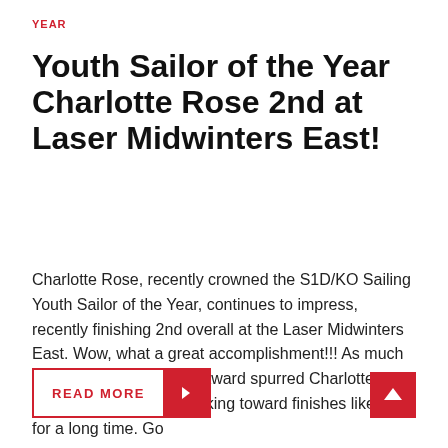YEAR
Youth Sailor of the Year Charlotte Rose 2nd at Laser Midwinters East!
Charlotte Rose, recently crowned the S1D/KO Sailing Youth Sailor of the Year, continues to impress, recently finishing 2nd overall at the Laser Midwinters East. Wow, what a great accomplishment!!! As much as we'd like to think our award spurred Charlotte on, we know she's been working toward finishes like this for a long time. Go ...